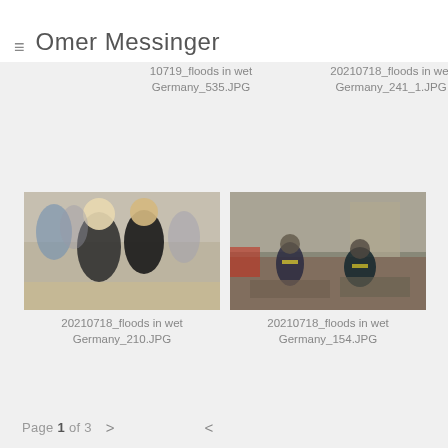≡ Omer Messinger
[Figure (photo): Partially visible flood damage photo, top left — 10719_floods in wet Germany_535.JPG]
10719_floods in wet Germany_535.JPG
[Figure (photo): Partially visible flood damage photo, top right — 20210718_floods in wet Germany_241_1.JPG]
20210718_floods in wet Germany_241_1.JPG
[Figure (photo): Photo of Angela Merkel and another woman walking through flood-affected area with crowd — 20210718_floods in wet Germany_210.JPG]
20210718_floods in wet Germany_210.JPG
[Figure (photo): Photo of firefighters/rescue workers sitting on rubble after floods — 20210718_floods in wet Germany_154.JPG]
20210718_floods in wet Germany_154.JPG
Page 1 of 3 > <